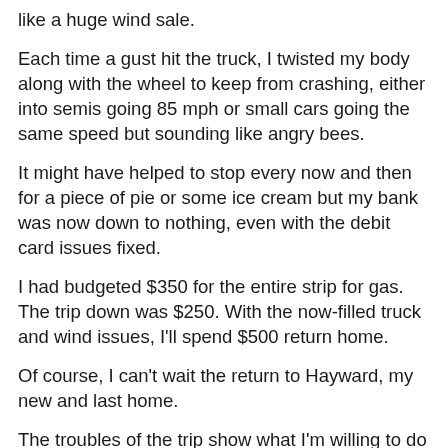like a huge wind sale.
Each time a gust hit the truck, I twisted my body along with the wheel to keep from crashing, either into semis going 85 mph or small cars going the same speed but sounding like angry bees.
It might have helped to stop every now and then for a piece of pie or some ice cream but my bank was now down to nothing, even with the debit card issues fixed.
I had budgeted $350 for the entire strip for gas. The trip down was $250. With the now-filled truck and wind issues, I'll spend $500 return home.
Of course, I can't wait the return to Hayward, my new and last home.
The troubles of the trip show what I'm willing to do for my final settlement.
Peace and home sweet home unto all of you by brothers and sisters.